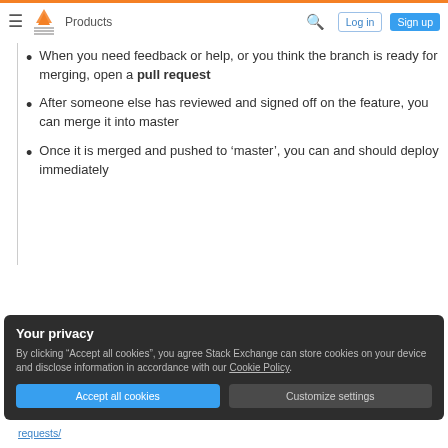Stack Exchange navigation bar with logo, Products, search, Log in, Sign up
When you need feedback or help, or you think the branch is ready for merging, open a pull request
After someone else has reviewed and signed off on the feature, you can merge it into master
Once it is merged and pushed to 'master', you can and should deploy immediately
Your privacy — By clicking "Accept all cookies", you agree Stack Exchange can store cookies on your device and disclose information in accordance with our Cookie Policy.
Accept all cookies | Customize settings
requests/